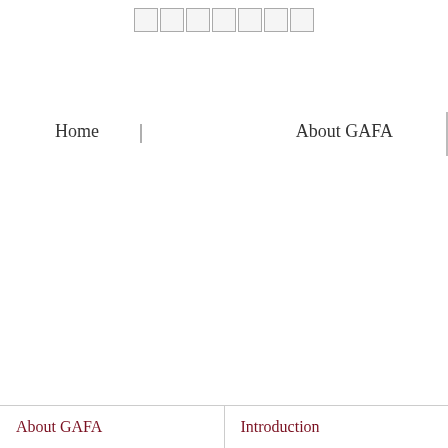□□□□□□□
Home | About GAFA
About GAFA   Introduction